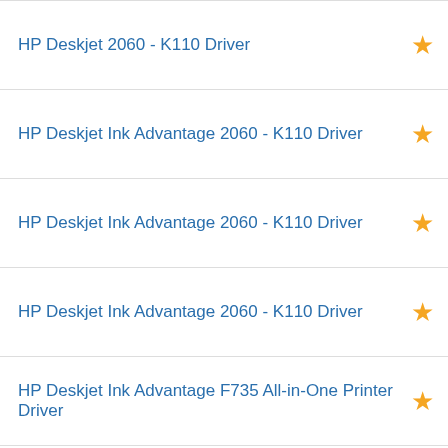HP Deskjet 2060 - K110 Driver
HP Deskjet Ink Advantage 2060 - K110 Driver
HP Deskjet Ink Advantage 2060 - K110 Driver
HP Deskjet Ink Advantage 2060 - K110 Driver
HP Deskjet Ink Advantage F735 All-in-One Printer Driver
HP Deskjet Ink Advantage D730 Printer Driver
HP Deskjet Ink Advantage Printer - K109a Driver
HP Deskjet 640c printer Driver
HP Deskjet 5850 Color Inkjet Printer Driver
DriverGuide uses cookies to make our website easier to use. Learn more about cookies. [×]